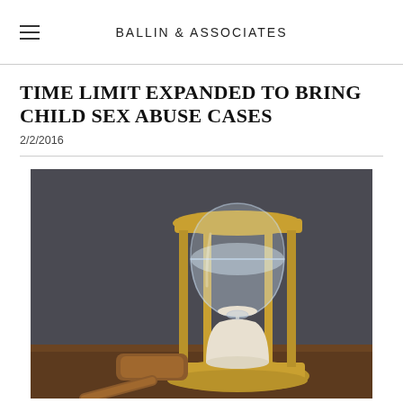BALLIN & ASSOCIATES
TIME LIMIT EXPANDED TO BRING CHILD SEX ABUSE CASES
2/2/2016
[Figure (photo): An hourglass with brass frame and white sand alongside a wooden judge's gavel, set against a dark gray background on a wooden surface.]